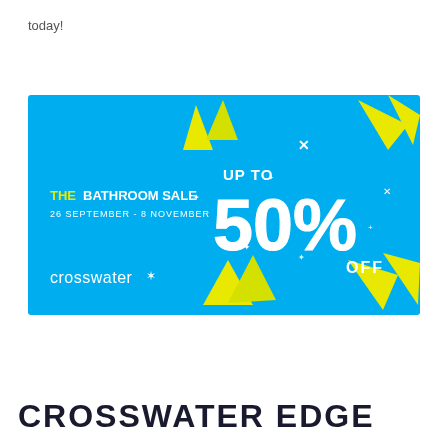today!
[Figure (infographic): Crosswater bathroom sale banner. Blue background with yellow triangle decorations. Text: 'THE BATHROOM SALE 26 SEPTEMBER - 8 NOVEMBER UP TO 50% OFF' with Crosswater logo.]
CROSSWATER EDGE